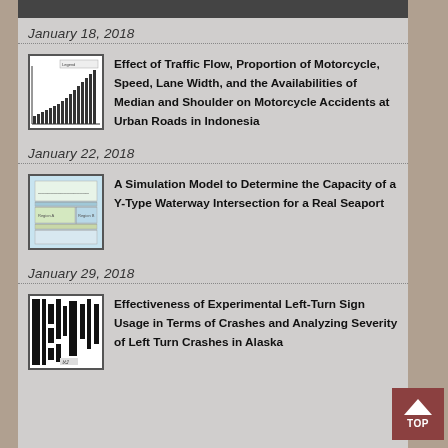Coefficient
January 18, 2018
[Figure (screenshot): Thumbnail image of a bar chart showing traffic data]
Effect of Traffic Flow, Proportion of Motorcycle, Speed, Lane Width, and the Availabilities of Median and Shoulder on Motorcycle Accidents at Urban Roads in Indonesia
January 22, 2018
[Figure (screenshot): Thumbnail image of a map/diagram for waterway intersection]
A Simulation Model to Determine the Capacity of a Y-Type Waterway Intersection for a Real Seaport
January 29, 2018
[Figure (screenshot): Thumbnail black and white image of traffic sign study]
Effectiveness of Experimental Left-Turn Sign Usage in Terms of Crashes and Analyzing Severity of Left Turn Crashes in Alaska